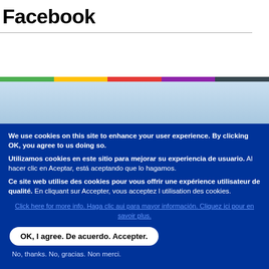Facebook
[Figure (infographic): Colorful horizontal stripe bar (green, yellow, red, purple, dark grey) above a light blue world map background section]
We use cookies on this site to enhance your user experience. By clicking OK, you agree to us doing so.
Utilizamos cookies en este sitio para mejorar su experiencia de usuario. Al hacer clic en Aceptar, está aceptando que lo hagamos.
Ce site web utilise des cookies pour vous offrir une expérience utilisateur de qualité. En cliquant sur Accepter, vous acceptez l utilisation des cookies.
Click here for more info. Haga clic aui para mayor información. Cliquez ici pour en savoir plus.
OK, I agree. De acuerdo. Accepter.
No, thanks. No, gracias. Non merci.